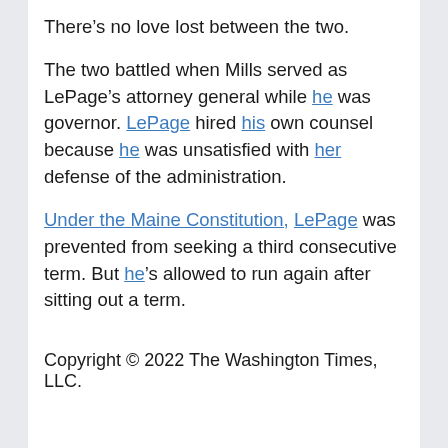There’s no love lost between the two.
The two battled when Mills served as LePage’s attorney general while he was governor. LePage hired his own counsel because he was unsatisfied with her defense of the administration.
Under the Maine Constitution, LePage was prevented from seeking a third consecutive term. But he’s allowed to run again after sitting out a term.
Copyright © 2022 The Washington Times, LLC.